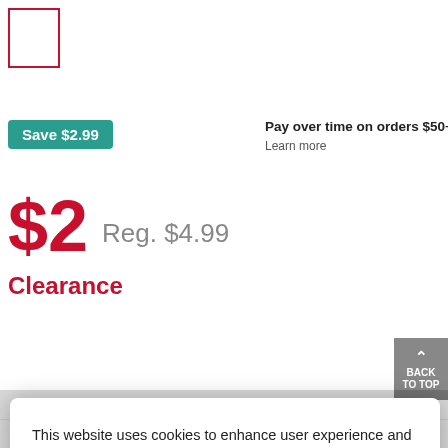[Figure (other): Product image placeholder box with red border]
Save $2.99
Pay over time on orders $50+ with affirm
Learn more
$2
Reg. $4.99
Clearance
BACK TO TOP
This website uses cookies to enhance user experience and to analyze performance and traffic on our website. We also share information about your use of our site with our social media, advertising and analytics partners. To learn more about cookies, including how to disable them, click on Cookie Preferences.
Cookie Preferences
Got It